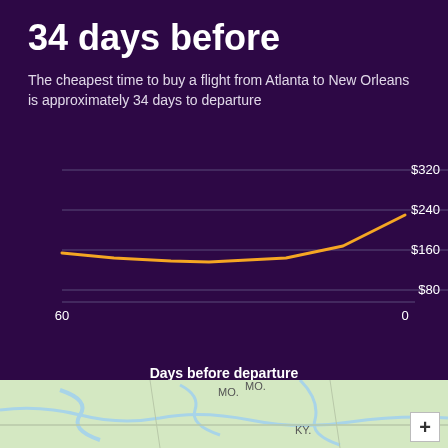34 days before
The cheapest time to buy a flight from Atlanta to New Orleans is approximately 34 days to departure
[Figure (line-chart): Line chart showing flight price vs days before departure. Price is lowest around 34 days (~$138) and rises steeply near departure (0 days, ~$230). Y-axis shows $80, $160, $240, $320. X-axis shows 60 on left, 0 on right.]
[Figure (map): Map strip showing MO. and KY. state labels with road/river lines on a light green background.]